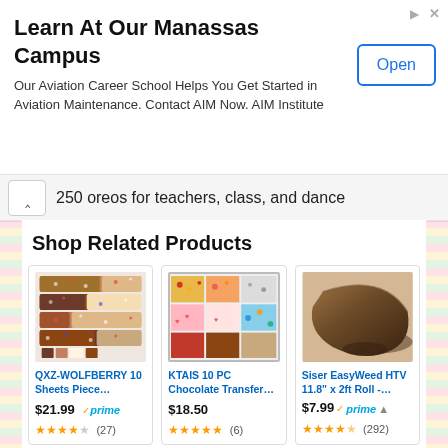[Figure (screenshot): Advertisement banner: Learn At Our Manassas Campus - Our Aviation Career School Helps You Get Started in Aviation Maintenance. Contact AIM Now. AIM Institute. With an Open button.]
250 oreos for teachers, class, and dance
Shop Related Products
[Figure (photo): QXZ-WOLFBERRY 10 Sheets chocolate transfer sheets product image]
QXZ-WOLFBERRY 10 Sheets Piece… $21.99 prime (27) 3.5 stars
[Figure (photo): KTAIS 10 PC Chocolate Transfer sheets product image]
KTAIS 10 PC Chocolate Transfer… $18.50 (6) 5 stars
[Figure (photo): Siser EasyWeed HTV 11.8 x 2ft Roll brown vinyl roll product image]
Siser EasyWeed HTV 11.8" x 2ft Roll -… $7.99 prime (292) 4.5 stars